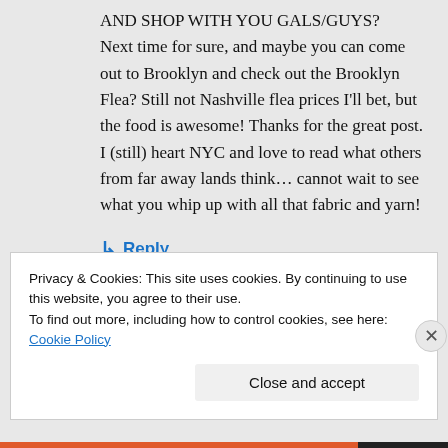AND SHOP WITH YOU GALS/GUYS?
Next time for sure, and maybe you can come out to Brooklyn and check out the Brooklyn Flea? Still not Nashville flea prices I'll bet, but the food is awesome! Thanks for the great post. I (still) heart NYC and love to read what others from far away lands think… cannot wait to see what you whip up with all that fabric and yarn!
↳ Reply
Privacy & Cookies: This site uses cookies. By continuing to use this website, you agree to their use.
To find out more, including how to control cookies, see here: Cookie Policy
Close and accept